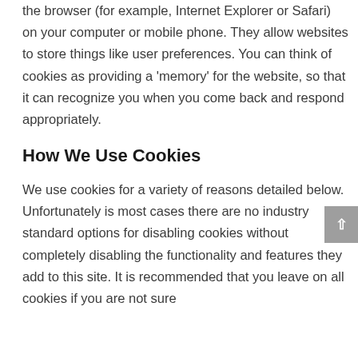the browser (for example, Internet Explorer or Safari) on your computer or mobile phone. They allow websites to store things like user preferences. You can think of cookies as providing a 'memory' for the website, so that it can recognize you when you come back and respond appropriately.
How We Use Cookies
We use cookies for a variety of reasons detailed below. Unfortunately is most cases there are no industry standard options for disabling cookies without completely disabling the functionality and features they add to this site. It is recommended that you leave on all cookies if you are not sure whether you need them or not.